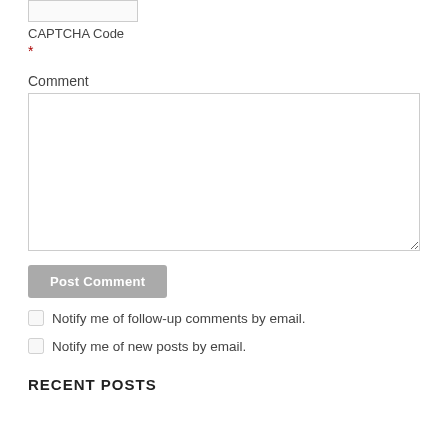CAPTCHA Code
*
Comment
Post Comment
Notify me of follow-up comments by email.
Notify me of new posts by email.
RECENT POSTS